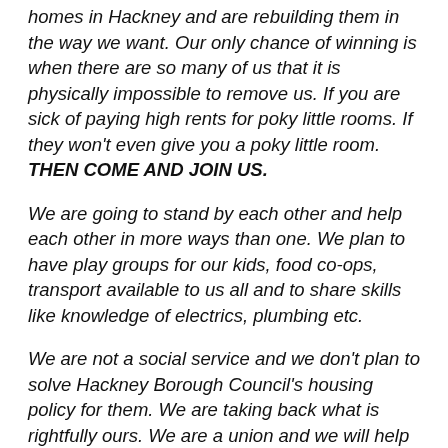homes in Hackney and are rebuilding them in the way we want. Our only chance of winning is when there are so many of us that it is physically impossible to remove us. If you are sick of paying high rents for poky little rooms. If they won't even give you a poky little room. THEN COME AND JOIN US.
We are going to stand by each other and help each other in more ways than one. We plan to have play groups for our kids, food co-ops, transport available to us all and to share skills like knowledge of electrics, plumbing etc.
We are not a social service and we don't plan to solve Hackney Borough Council's housing policy for them. We are taking back what is rightfully ours. We are a union and we will help each other…"
[includes five contact addresses at the end – four in E8